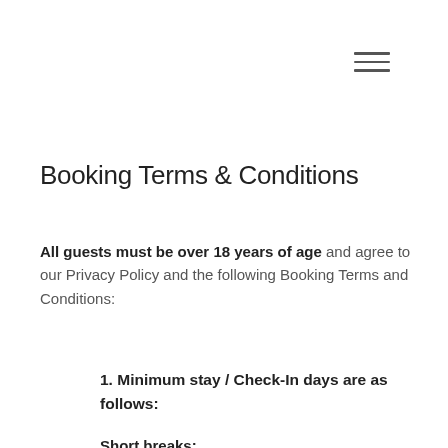[Figure (other): Hamburger menu icon (three horizontal lines) in upper right area]
Booking Terms & Conditions
All guests must be over 18 years of age and agree to our Privacy Policy and the following Booking Terms and Conditions:
1. Minimum stay / Check-In days are as follows:
Short breaks:
2 nights minimum stay
We like to be as flexible as possible on check-in days so if you have a specific day or duration that you'd